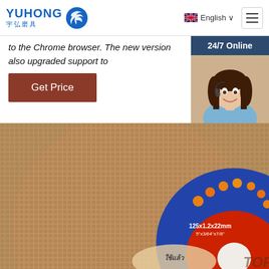[Figure (logo): Yuhong abrasives logo with blue text and blue wave/circle icon]
to the Chrome browser. The new version also upgraded support to
[Figure (photo): Customer service representative smiling with headset, 24/7 Online sidebar with chat and quotation button]
Get Price
[Figure (photo): Close-up of a cutting/grinding abrasive disc with blue and red label, product dimensions 125x1.2x22mm 5x3/64x7/8]